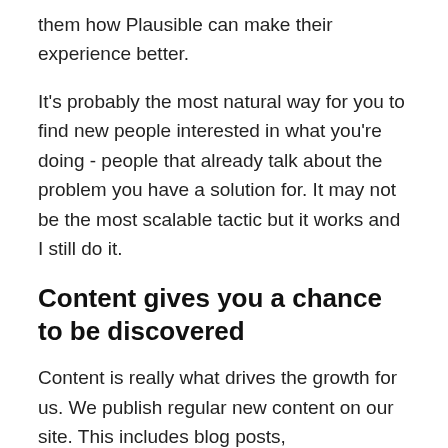them how Plausible can make their experience better.
It's probably the most natural way for you to find new people interested in what you're doing - people that already talk about the problem you have a solution for. It may not be the most scalable tactic but it works and I still do it.
Content gives you a chance to be discovered
Content is really what drives the growth for us. We publish regular new content on our site. This includes blog posts, documentation pages, and different marketing pages about our features, usecases and problems we solve.